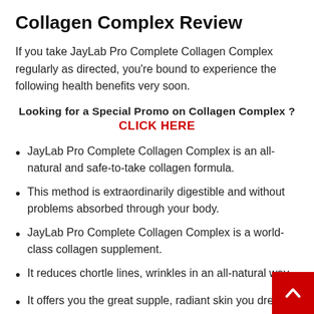Collagen Complex Review
If you take JayLab Pro Complete Collagen Complex regularly as directed, you’re bound to experience the following health benefits very soon.
Looking for a Special Promo on Collagen Complex ? CLICK HERE
JayLab Pro Complete Collagen Complex is an all-natural and safe-to-take collagen formula.
This method is extraordinarily digestible and without problems absorbed through your body.
JayLab Pro Complete Collagen Complex is a world-class collagen supplement.
It reduces chortle lines, wrinkles in an all-natural way.
It offers you the great supple, radiant skin you dream